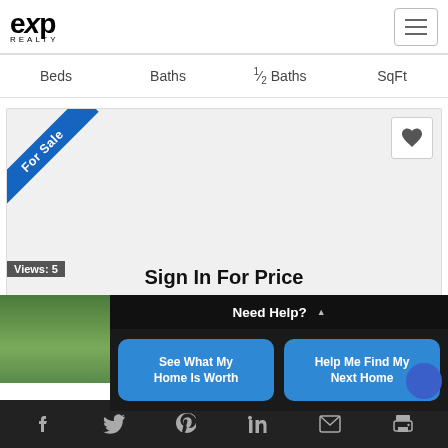[Figure (logo): eXp Realty logo in top left, with hamburger menu icon on top right]
Beds   Baths   ½ Baths   SqFt
[Figure (screenshot): Real estate listing card with blue 'For Sale' diagonal ribbon, heart/favorite button, and 'Sign In For Price' text. Views: 5 badge. Landscape photo with trees and green strip.]
Need Help? ▲
See What My Home Is Worth
Help Me Find My Next Home
[Figure (screenshot): Social sharing footer bar with Facebook, Twitter, Pinterest, LinkedIn, Email, and Print icons on dark background]